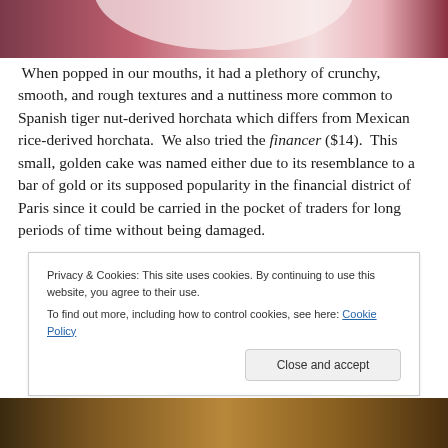[Figure (photo): Top portion of a food/drink photo, showing what appears to be a red and white dish or cup.]
When popped in our mouths, it had a plethory of crunchy, smooth, and rough textures and a nuttiness more common to Spanish tiger nut-derived horchata which differs from Mexican rice-derived horchata.  We also tried the financer ($14).  This small, golden cake was named either due to its resemblance to a bar of gold or its supposed popularity in the financial district of Paris since it could be carried in the pocket of traders for long periods of time without being damaged.
Privacy & Cookies: This site uses cookies. By continuing to use this website, you agree to their use.
To find out more, including how to control cookies, see here: Cookie Policy
[Figure (photo): Bottom portion of a food photo showing what appears to be a golden baked item.]